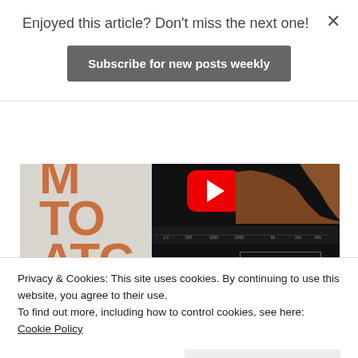Enjoyed this article? Don't miss the next one!
Subscribe for new posts weekly
[Figure (screenshot): Video thumbnail showing Room Tone Match plugin interface with YouTube play button and spectrum display on dark background]
The Room Tone match plugin in the Pro bundle is a great addition as it does a lot of otherwise fiddly work for you in
Privacy & Cookies: This site uses cookies. By continuing to use this website, you agree to their use.
To find out more, including how to control cookies, see here: Cookie Policy
Close and accept
different places on different days.